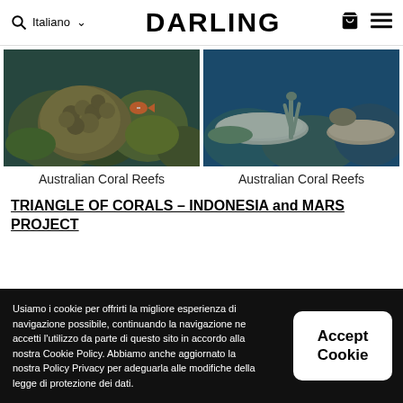🔍 Italiano ▾  DARLING  🛒 ☰
[Figure (photo): Underwater photo of Australian coral reef with brown/green coral formations and an orange fish]
[Figure (photo): Underwater photo of Australian coral reef with blue-tinted water and white/brown plate corals]
Australian Coral Reefs
Australian Coral Reefs
TRIANGLE OF CORALS – INDONESIA and MARS PROJECT
Usiamo i cookie per offrirti la migliore esperienza di navigazione possibile, continuando la navigazione ne accetti l'utilizzo da parte di questo sito in accordo alla nostra Cookie Policy. Abbiamo anche aggiornato la nostra Policy Privacy per adeguarla alle modifiche della legge di protezione dei dati.